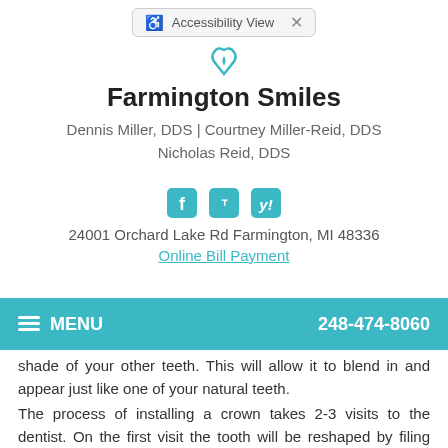Accessibility View
Farmington Smiles
Dennis Miller, DDS | Courtney Miller-Reid, DDS
Nicholas Reid, DDS
24001 Orchard Lake Rd Farmington, MI 48336
Online Bill Payment
MENU  248-474-8060
shade of your other teeth. This will allow it to blend in and appear just like one of your natural teeth.
The process of installing a crown takes 2-3 visits to the dentist. On the first visit the tooth will be reshaped by filing down the enamel so that the crown can be placed over it. You will be given a local anesthetic before this part of the procedure so that you do not experience any discomfort. Once the tooth has been reshaped, a mold will be taken of that tooth and the surrounding teeth. This mold will be sent